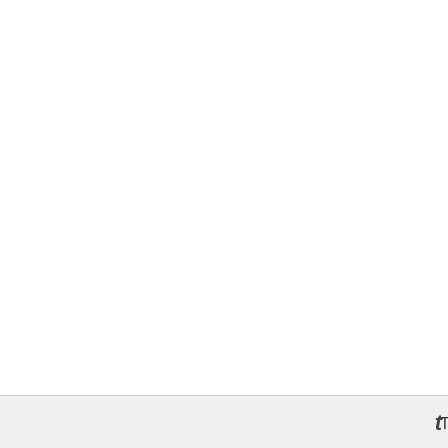By Ravi Kiran in Taxes
The good news (for alpaca owners) is th... money on their tax bill. The good news fo...
27th July 2011
How Turbo Tax Download...
By Donald Petersen in Taxes
Turbo tax download will be the answer fo... have a vague idea on the best way to file...
27th July 2011
Factors Why You need to...
By Donald Petersen in Taxes
Tax preparation software system is beco... charging much more than the typical and... search f...
27th July 2011
Turbo Tax Discount Deliv...
By Donald Petersen in Taxes
Apart from the wonderful Turbo tax disco... because of its fantastic consumer servic...
Tweet
27th July